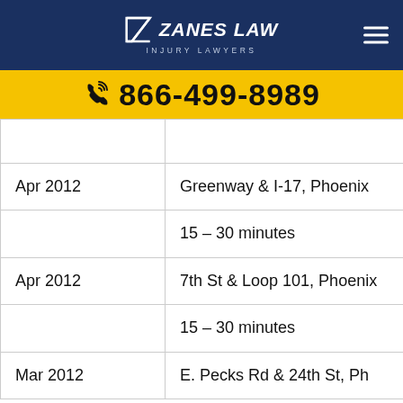Zanes Law Injury Lawyers | 866-499-8989
| Date | Location 1 | Location 2 |
| --- | --- | --- |
|  |  |  |
| Apr 2012 | Greenway & I-17, Phoenix | Thunderbird &... |
|  | 15 – 30 minutes | on city streets... |
| Apr 2012 | 7th St & Loop 101, Phoenix | Peoria Rd. & I-1... |
|  | 15 – 30 minutes | highways, no H... |
| Mar 2012 | E. Pecks Rd & 24th St, Ph | 91st Ave & Van... |